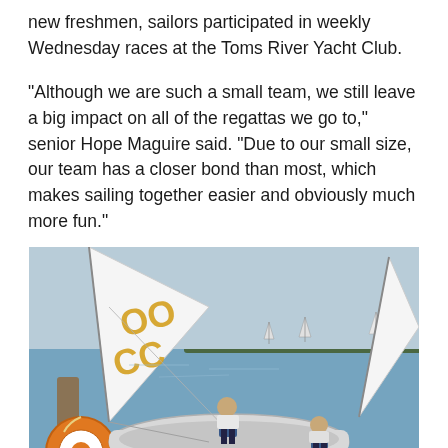new freshmen, sailors participated in weekly Wednesday races at the Toms River Yacht Club.
“Although we are such a small team, we still leave a big impact on all of the regattas we go to,” senior Hope Maguire said. “Due to our small size, our team has a closer bond than most, which makes sailing together easier and obviously much more fun.”
[Figure (photo): Sailors on small sailboats with white and gold sails marked with letters, docked at a waterfront. Two people in life vests are visible on the boat. Water and trees visible in the background.]